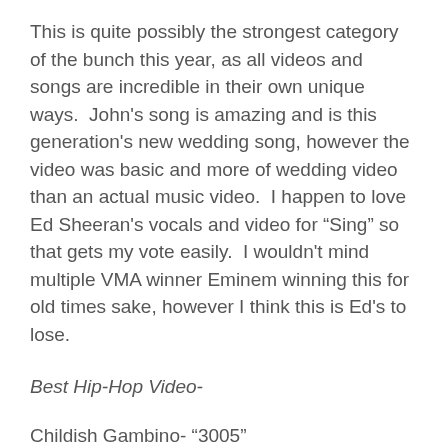This is quite possibly the strongest category of the bunch this year, as all videos and songs are incredible in their own unique ways.  John's song is amazing and is this generation's new wedding song, however the video was basic and more of wedding video than an actual music video.  I happen to love Ed Sheeran's vocals and video for “Sing” so that gets my vote easily.  I wouldn't mind multiple VMA winner Eminem winning this for old times sake, however I think this is Ed's to lose.
Best Hip-Hop Video-
Childish Gambino- “3005”
Drake Featuring Majid Jordan- “Hold On (We're Going Home)”